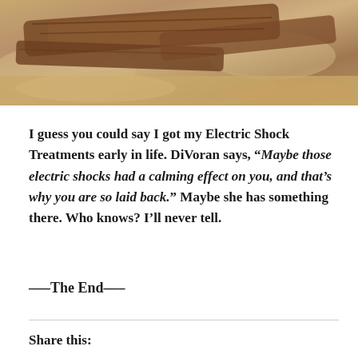[Figure (photo): Partial photo showing wooden boards or logs on sandy ground, earth-toned colors]
I guess you could say I got my Electric Shock Treatments early in life. DiVoran says, “Maybe those electric shocks had a calming effect on you, and that’s why you are so laid back.” Maybe she has something there. Who knows? I’ll never tell.
—–The End—–
Share this: